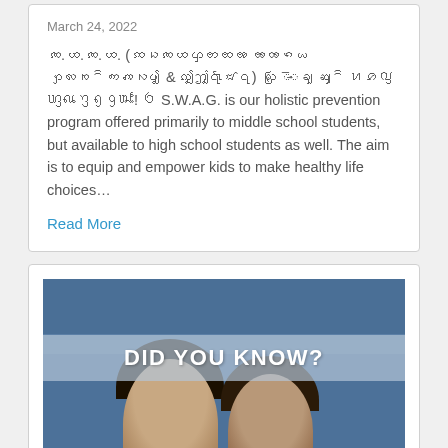March 24, 2022
ꩣ.ꩤ.ꩣ.ꩤ. (ꩡꩢꩣꩤꩥꩦꩧꩨ ꩩꩪꩫꩬ ꩭꩮꩯꩰꩱꩲꩳꩴ & ꩵꩶ꩷꩸꩹) ꩺꩻ ꩼꩽꩾ ꩿꩰ ꪀꪁꪂ ꪃꪄꪅꪆꪇꪈ! ꪉ S.W.A.G. is our holistic prevention program offered primarily to middle school students, but available to high school students as well. The aim is to equip and empower kids to make healthy life choices…
Read More
[Figure (photo): Blue-toned image of two people (students) with a 'DID YOU KNOW?' banner overlay in white bold text on a semi-transparent banner.]